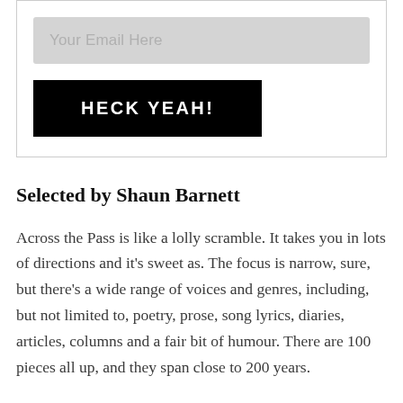[Figure (other): Email signup form box with a light gray email input field labeled 'Your Email Here' and a black button labeled 'HECK YEAH!']
Selected by Shaun Barnett
Across the Pass is like a lolly scramble. It takes you in lots of directions and it's sweet as. The focus is narrow, sure, but there's a wide range of voices and genres, including, but not limited to, poetry, prose, song lyrics, diaries, articles, columns and a fair bit of humour. There are 100 pieces all up, and they span close to 200 years.